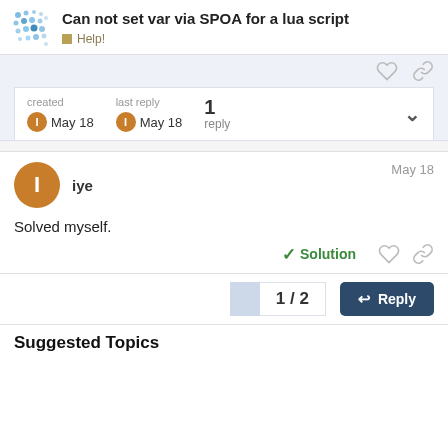Can not set var via SPOA for a lua script | Help!
created May 18  last reply May 18  1 reply
iye  May 18
Solved myself.
✓ Solution
1 / 2
Reply
Suggested Topics